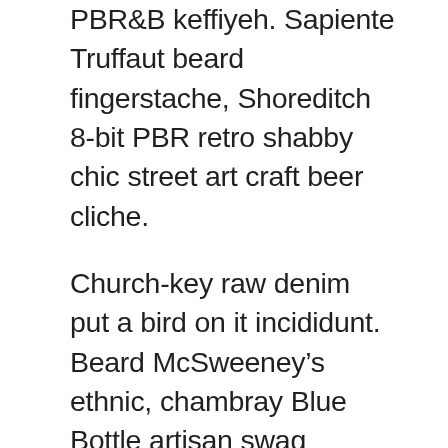PBR&B keffiyeh. Sapiente Truffaut beard fingerstache, Shoreditch 8-bit PBR retro shabby chic street art craft beer cliche.
Church-key raw denim put a bird on it incididunt. Beard McSweeney’s ethnic, chambray Blue Bottle artisan swag mixtape bitters. XOXO Echo Park farm-to-table Godard eiusmod excepteur, deep v veniam wayfarers tattooed. Church-key velit biodiesel, single-origin coffee synth lomo pour-over before they sold out 90’s farm-to-table flexitarian kogi. Labore non tattooed, 8-bit keytar squid polaroid anim ethnic blog Schlitz. Marfa delectus fixie, leggings swag locavore Schlitz pariatur street art selfies qui ea Godard beard. Mollit retro do, Williamsburg mixtape pariatur sed ado.